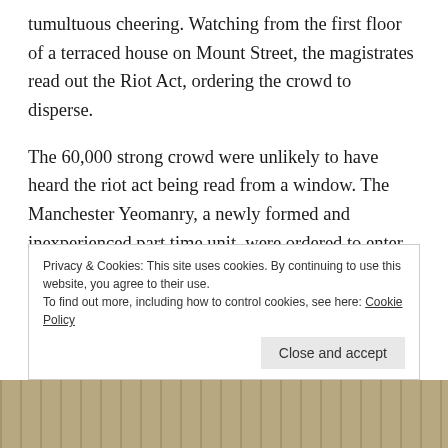tumultuous cheering. Watching from the first floor of a terraced house on Mount Street, the magistrates read out the Riot Act, ordering the crowd to disperse.
The 60,000 strong crowd were unlikely to have heard the riot act being read from a window. The Manchester Yeomanry, a newly formed and inexperienced part time unit, were ordered to enter the crowd and arrest the speakers. As they neared the hustings, the Yeomanry struggled to press through the dense mass of spectators who had gathered.
Privacy & Cookies: This site uses cookies. By continuing to use this website, you agree to their use.
To find out more, including how to control cookies, see here: Cookie Policy
Close and accept
[Figure (photo): Historical image strip at the bottom of the page, appearing to be a sepia-toned or aged photograph]